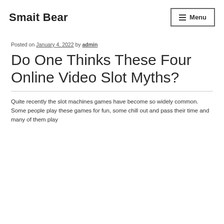Smait Bear
Posted on January 4, 2022 by admin
Do One Thinks These Four Online Video Slot Myths?
Quite recently the slot machines games have become so widely common. Some people play these games for fun, some chill out and pass their time and many of them play